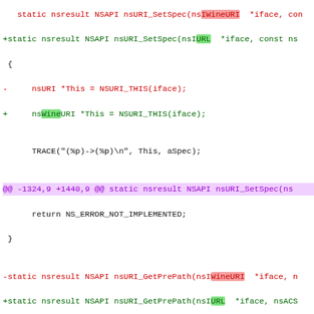[Figure (screenshot): A code diff view showing changes to C/C++ source code, with removed lines in red, added lines in green, and diff hunk headers in purple on a white background. Highlights show 'WineURI' in red background on removed lines and 'URL' in green background on added lines.]